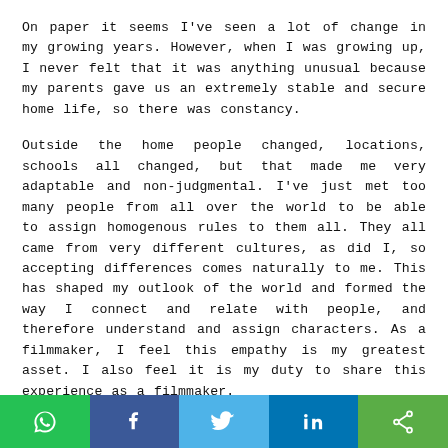On paper it seems I've seen a lot of change in my growing years. However, when I was growing up, I never felt that it was anything unusual because my parents gave us an extremely stable and secure home life, so there was constancy.
Outside the home people changed, locations, schools all changed, but that made me very adaptable and non-judgmental. I've just met too many people from all over the world to be able to assign homogenous rules to them all. They all came from very different cultures, as did I, so accepting differences comes naturally to me. This has shaped my outlook of the world and formed the way I connect and relate with people, and therefore understand and assign characters. As a filmmaker, I feel this empathy is my greatest asset. I also feel it is my duty to share this experience as a filmmaker.
Was film-watching part of the curriculum? You are